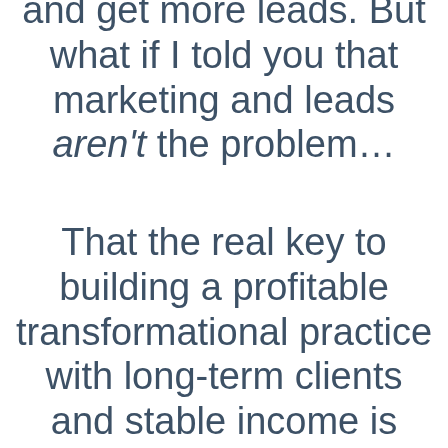and get more leads. But what if I told you that marketing and leads aren't the problem...
That the real key to building a profitable transformational practice with long-term clients and stable income is instead to step into the